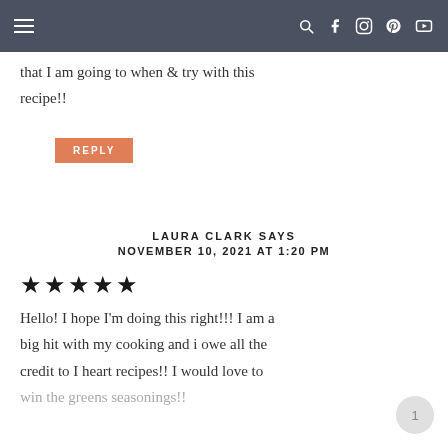Navigation bar with hamburger menu and social icons (search, facebook, instagram, pinterest, youtube)
that I am going to when & try with this recipe!!
REPLY
LAURA CLARK SAYS
NOVEMBER 10, 2021 AT 1:20 PM
★★★★★
Hello! I hope I'm doing this right!!! I am a big hit with my cooking and i owe all the credit to I heart recipes!! I would love to
win the greens seasonings!!